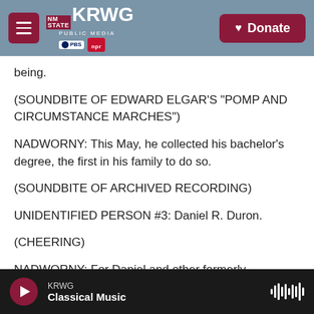KRWG Public Media — Navigation bar with Donate button
being.
(SOUNDBITE OF EDWARD ELGAR'S "POMP AND CIRCUMSTANCE MARCHES")
NADWORNY: This May, he collected his bachelor's degree, the first in his family to do so.
(SOUNDBITE OF ARCHIVED RECORDING)
UNIDENTIFIED PERSON #3: Daniel R. Duron.
(CHEERING)
NADWORNY: For Daniel and other formerly
KRWG — Classical Music — player bar